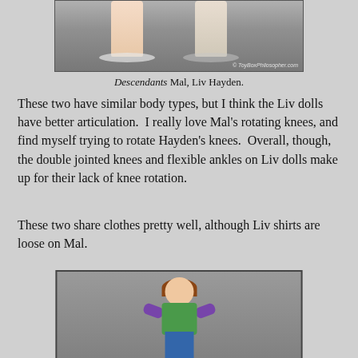[Figure (photo): Photo of two doll lower bodies/legs on stands, one with skin-tone legs and one with slightly different coloring, on a gray background with ToyBoxPhilosopher.com watermark]
Descendants Mal, Liv Hayden.
These two have similar body types, but I think the Liv dolls have better articulation.  I really love Mal's rotating knees, and find myself trying to rotate Hayden's knees.  Overall, though, the double jointed knees and flexible ankles on Liv dolls make up for their lack of knee rotation.
These two share clothes pretty well, although Liv shirts are loose on Mal.
[Figure (photo): Photo of a Liv doll with brown hair in a ponytail, wearing a green and purple outfit, posed with one arm extended, against a gray background]